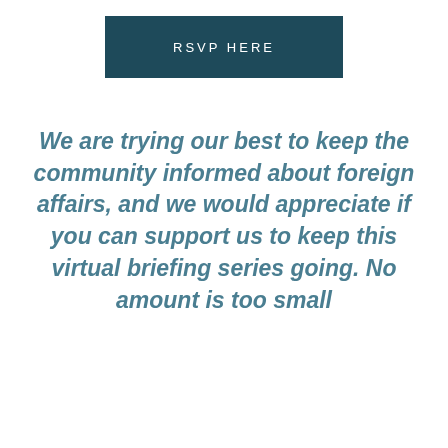[Figure (other): Dark teal rectangular button with text 'RSVP HERE' in white spaced capitals]
We are trying our best to keep the community informed about foreign affairs, and we would appreciate if you can support us to keep this virtual briefing series going. No amount is too small